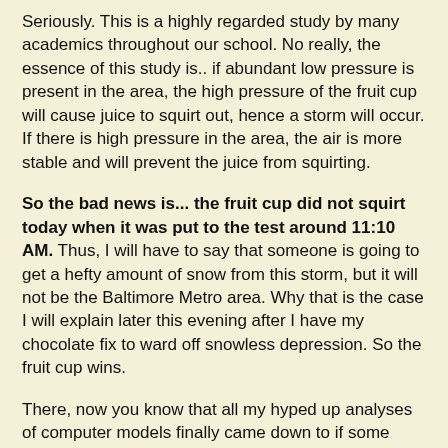Seriously. This is a highly regarded study by many academics throughout our school. No really, the essence of this study is.. if abundant low pressure is present in the area, the high pressure of the fruit cup will cause juice to squirt out, hence a storm will occur. If there is high pressure in the area, the air is more stable and will prevent the juice from squirting.
So the bad news is... the fruit cup did not squirt today when it was put to the test around 11:10 AM. Thus, I will have to say that someone is going to get a hefty amount of snow from this storm, but it will not be the Baltimore Metro area. Why that is the case I will explain later this evening after I have my chocolate fix to ward off snowless depression. So the fruit cup wins.
There, now you know that all my hyped up analyses of computer models finally came down to if some stupid fruit cup squirted juice or not. Well, you gotta have a sense of humor about the weather or it will drive you insane.
Many thanks to the fun comments today, I appreciate